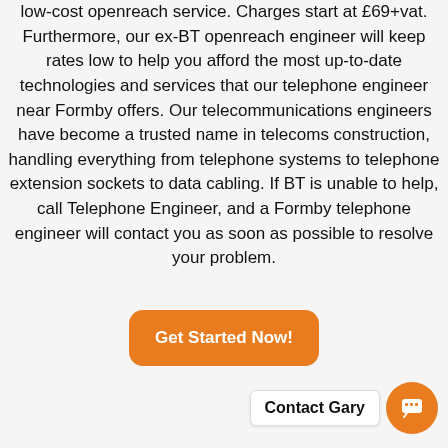low-cost openreach service. Charges start at £69+vat. Furthermore, our ex-BT openreach engineer will keep rates low to help you afford the most up-to-date technologies and services that our telephone engineer near Formby offers. Our telecommunications engineers have become a trusted name in telecoms construction, handling everything from telephone systems to telephone extension sockets to data cabling. If BT is unable to help, call Telephone Engineer, and a Formby telephone engineer will contact you as soon as possible to resolve your problem.
[Figure (other): Orange rounded button with white text 'Get Started Now!']
[Figure (other): Contact Gary widget: white label box and orange circle chat icon with speech bubble]